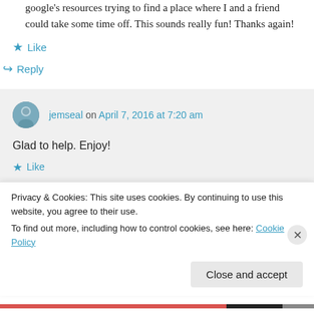google's resources trying to find a place where I and a friend could take some time off. This sounds really fun! Thanks again!
Like
Reply
jemseal on April 7, 2016 at 7:20 am
Glad to help. Enjoy!
Like
Privacy & Cookies: This site uses cookies. By continuing to use this website, you agree to their use.
To find out more, including how to control cookies, see here: Cookie Policy
Close and accept